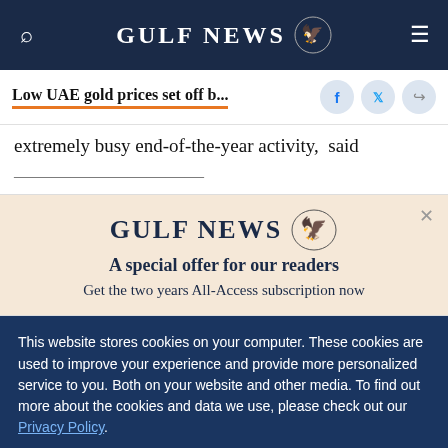GULF NEWS
Low UAE gold prices set off b...
extremely busy end-of-the-year activity,  said
GULF NEWS — A special offer for our readers
Get the two years All-Access subscription now
This website stores cookies on your computer. These cookies are used to improve your experience and provide more personalized service to you. Both on your website and other media. To find out more about the cookies and data we use, please check out our Privacy Policy.